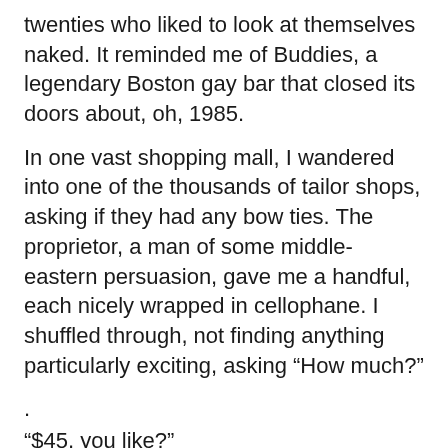twenties who liked to look at themselves naked. It reminded me of Buddies, a legendary Boston gay bar that closed its doors about, oh, 1985.
In one vast shopping mall, I wandered into one of the thousands of tailor shops, asking if they had any bow ties. The proprietor, a man of some middle-eastern persuasion, gave me a handful, each nicely wrapped in cellophane. I shuffled through, not finding anything particularly exciting, asking “How much?”
.
“$45, you like?”
“No, too much, and I don’t like.” I said. That was the wrong thing to say.
“You don’t know what you are talking about!” he lectured. “You can’t say ‘too much’ and ‘not like’ at the same time! You either like, or it not too much!”